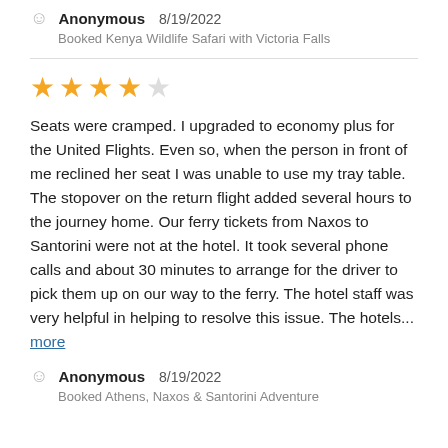Anonymous  8/19/2022
Booked Kenya Wildlife Safari with Victoria Falls
[Figure (other): 4 out of 5 stars rating (4 filled yellow stars, 1 empty star)]
Seats were cramped. I upgraded to economy plus for the United Flights. Even so, when the person in front of me reclined her seat I was unable to use my tray table. The stopover on the return flight added several hours to the journey home. Our ferry tickets from Naxos to Santorini were not at the hotel. It took several phone calls and about 30 minutes to arrange for the driver to pick them up on our way to the ferry. The hotel staff was very helpful in helping to resolve this issue. The hotels... more
Anonymous  8/19/2022
Booked Athens, Naxos & Santorini Adventure